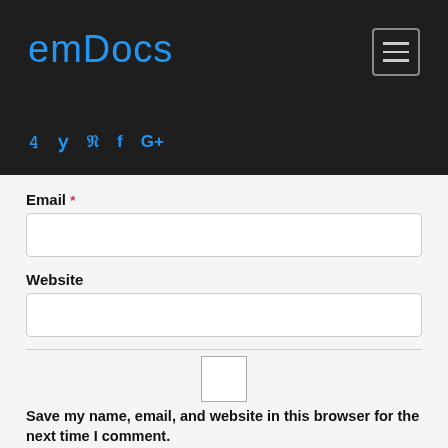emDocs
Email *
Website
Save my name, email, and website in this browser for the next time I comment.
Notify me of follow-up comments by email.